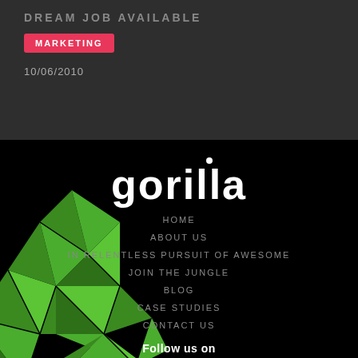DREAM JOB AVAILABLE
MARKETING
10/06/2010
[Figure (logo): Gorilla company logo in white text on black background]
HOME
ABOUT US
IN RELENTLESS PURSUIT OF AWESOME
JOIN THE JUNGLE
BLOG
CASE STUDIES
CONTACT US
Follow us on
[Figure (illustration): Green geometric low-poly gorilla graphic in bottom left corner]
[Figure (illustration): Social media icons: Facebook, Twitter, Instagram, LinkedIn in white]